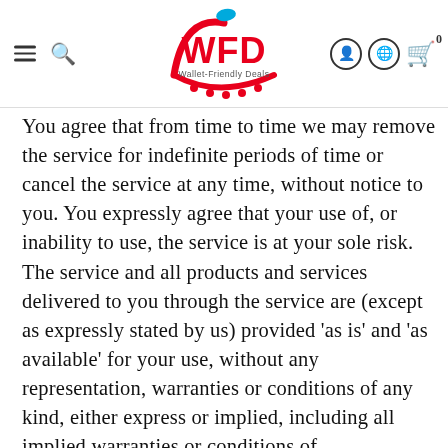WFD Wallet-Friendly Deals
You agree that from time to time we may remove the service for indefinite periods of time or cancel the service at any time, without notice to you. You expressly agree that your use of, or inability to use, the service is at your sole risk. The service and all products and services delivered to you through the service are (except as expressly stated by us) provided 'as is' and 'as available' for your use, without any representation, warranties or conditions of any kind, either express or implied, including all implied warranties or conditions of merchantability, merchantable quality, fitness for a particular purpose, durability, title, and non-infringement.
In no case shall Wallet Friendly Deals, our directors, officers, employees, affiliates, agents, contractors, interns, suppliers, service providers or licensors be...